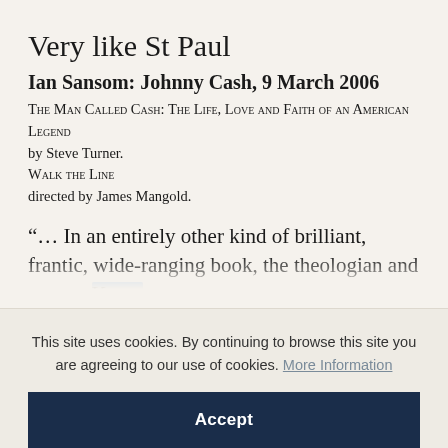Very like St Paul
Ian Sansom: Johnny Cash, 9 March 2006
The Man Called Cash: The Life, Love and Faith of an American Legend
by Steve Turner.
Walk the Line
directed by James Mangold.
“… In an entirely other kind of brilliant, frantic, wide-ranging book, the theologian and ex-nun Karen
This site uses cookies. By continuing to browse this site you are agreeing to our use of cookies. More Information
Accept